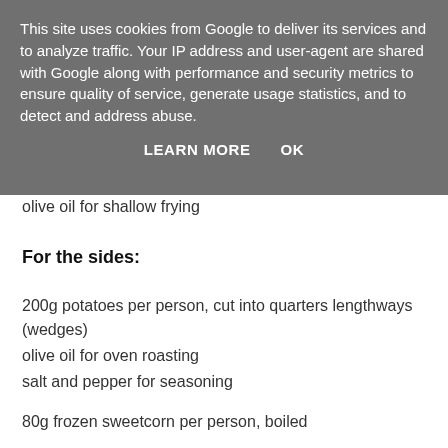This site uses cookies from Google to deliver its services and to analyze traffic. Your IP address and user-agent are shared with Google along with performance and security metrics to ensure quality of service, generate usage statistics, and to detect and address abuse.
LEARN MORE    OK
olive oil for shallow frying
For the sides:
200g potatoes per person, cut into quarters lengthways (wedges)
olive oil for oven roasting
salt and pepper for seasoning
80g frozen sweetcorn per person, boiled
Equipment:
sharp knife
chopping board